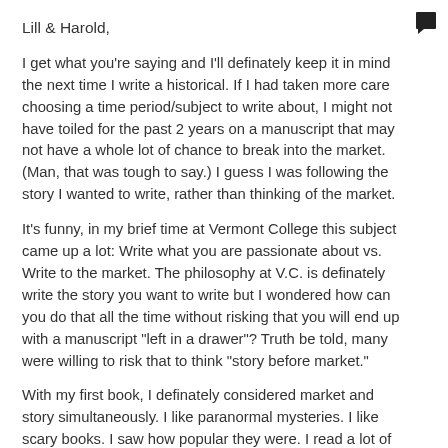Lill & Harold,
I get what you're saying and I'll definately keep it in mind the next time I write a historical. If I had taken more care choosing a time period/subject to write about, I might not have toiled for the past 2 years on a manuscript that may not have a whole lot of chance to break into the market. (Man, that was tough to say.) I guess I was following the story I wanted to write, rather than thinking of the market.
It's funny, in my brief time at Vermont College this subject came up a lot: Write what you are passionate about vs. Write to the market. The philosophy at V.C. is definately write the story you want to write but I wondered how can you do that all the time without risking that you will end up with a manuscript "left in a drawer"? Truth be told, many were willing to risk that to think "story before market."
With my first book, I definately considered market and story simultaneously. I like paranormal mysteries. I like scary books. I saw how popular they were. I read a lot of